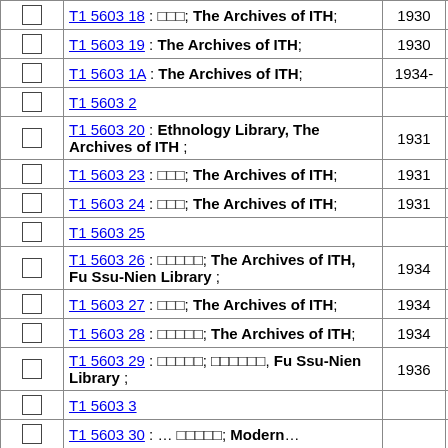|  | Title | Year | Count |
| --- | --- | --- | --- |
| ☐ | T1 5603 18 : □□□; The Archives of ITH; | 1930 | 1 |
| ☐ | T1 5603 19 : The Archives of ITH; | 1930 | 1 |
| ☐ | T1 5603 1A : The Archives of ITH; | 1934- | 1 |
| ☐ | T1 5603 2 |  | 4 |
| ☐ | T1 5603 20 : Ethnology Library, The Archives of ITH ; | 1931 | 1 |
| ☐ | T1 5603 23 : □□□; The Archives of ITH; | 1931 | 1 |
| ☐ | T1 5603 24 : □□□; The Archives of ITH; | 1931 | 1 |
| ☐ | T1 5603 25 |  | 2 |
| ☐ | T1 5603 26 : □□□□□; The Archives of ITH, Fu Ssu-Nien Library ; | 1934 | 1 |
| ☐ | T1 5603 27 : □□□; The Archives of ITH; | 1934 | 1 |
| ☐ | T1 5603 28 : □□□□□; The Archives of ITH; | 1934 | 1 |
| ☐ | T1 5603 29 : □□□□□; □□□□□□, Fu Ssu-Nien Library ; | 1936 | 1 |
| ☐ | T1 5603 3 |  | 4 |
| ☐ | T1 5603 30 : …; Modern… |  |  |